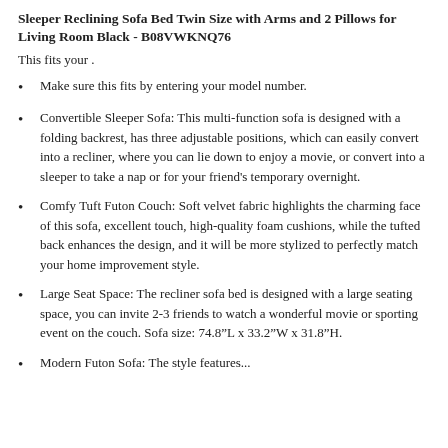Sleeper Reclining Sofa Bed Twin Size with Arms and 2 Pillows for Living Room Black - B08VWKNQ76
This fits your .
Make sure this fits by entering your model number.
Convertible Sleeper Sofa: This multi-function sofa is designed with a folding backrest, has three adjustable positions, which can easily convert into a recliner, where you can lie down to enjoy a movie, or convert into a sleeper to take a nap or for your friend’s temporary overnight.
Comfy Tuft Futon Couch: Soft velvet fabric highlights the charming face of this sofa, excellent touch, high-quality foam cushions, while the tufted back enhances the design, and it will be more stylized to perfectly match your home improvement style.
Large Seat Space: The recliner sofa bed is designed with a large seating space, you can invite 2-3 friends to watch a wonderful movie or sporting event on the couch. Sofa size: 74.8”L x 33.2”W x 31.8”H.
Modern Futon Sofa: The style features...